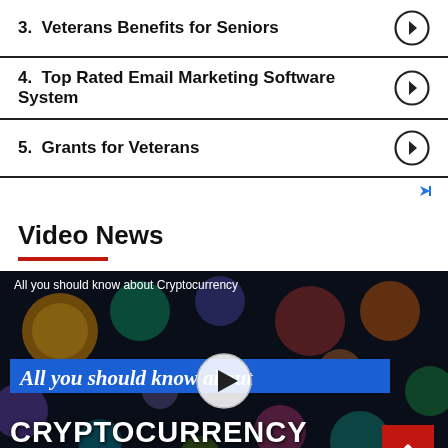3.  Veterans Benefits for Seniors
4.  Top Rated Email Marketing Software System
5.  Grants for Veterans
Video News
[Figure (screenshot): Video thumbnail for 'All you should know about Cryptocurrency' with play button overlay, blue banner with italic text, and large white CRYPTOCURRENCY text at bottom. Dark background with colorful cryptocurrency coin icons.]